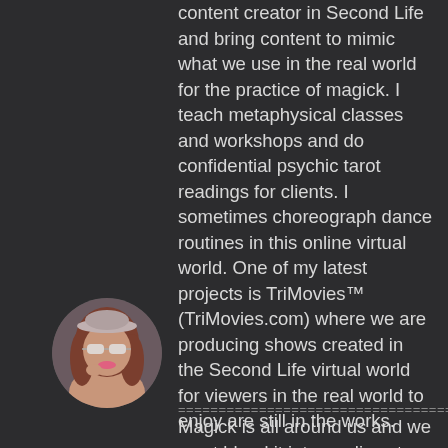content creator in Second Life and bring content to mimic what we use in the real world for the practice of magick. I teach metaphysical classes and workshops and do confidential psychic tarot readings for clients. I sometimes choreograph dance routines in this online virtual world. One of my latest projects is TriMovies™ (TriMovies.com) where we are producing shows created in the Second Life virtual world for viewers in the real world to enjoy are still in the works.
[Figure (photo): Circular avatar photo of a woman with long brown hair wearing a light-colored hat and sunglasses, holding her hand near her face.]
==================================
Magick is all around us and we must blend it into our lives to live a life that is full of the awe, wonder, and beautiful serendipity that we want to